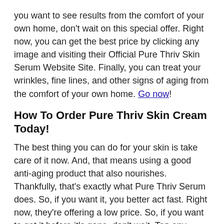you want to see results from the comfort of your own home, don't wait on this special offer. Right now, you can get the best price by clicking any image and visiting their Official Pure Thriv Skin Serum Website Site. Finally, you can treat your wrinkles, fine lines, and other signs of aging from the comfort of your own home. Go now!
How To Order Pure Thriv Skin Cream Today!
The best thing you can do for your skin is take care of it now. And, that means using a good anti-aging product that also nourishes. Thankfully, that's exactly what Pure Thriv Serum does. So, if you want it, you better act fast. Right now, they're offering a low price. So, if you want to get it before it's gone, don't wait. Tap any image on this page to get yours before it's gone! Then, see the Pure Thrive Skin Serum results for yourself. Your skin will thank you by looking younger, smoother, and brighter. And, who wouldn't love that? Click any image to get started by taking care of your skin the right way!